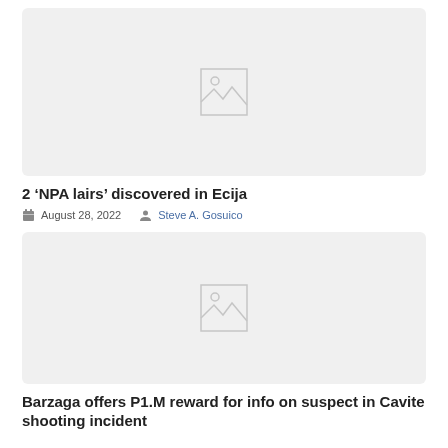[Figure (photo): Placeholder image thumbnail for article 1 - light gray background with image placeholder icon]
2 ‘NPA lairs’ discovered in Ecija
August 28, 2022   Steve A. Gosuico
[Figure (photo): Placeholder image thumbnail for article 2 - light gray background with image placeholder icon]
Barzaga offers P1.M reward for info on suspect in Cavite shooting incident